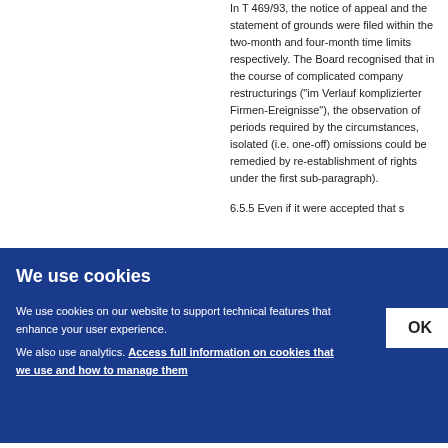In T 469/93, the notice of appeal and the statement of grounds were filed within the two-month and four-month time limits respectively. The Board recognised that in the course of complicated company restructurings ("im Verlauf komplizierter Firmen-Ereignisse"), the observation of periods required by the circumstances, isolated (i.e. one-off) omissions could be remedied by re-establishment of rights under the first sub-paragraph).
6.5.5 Even if it were accepted that something would constitute an "exc... something ... case ... the s... plaus... voked... the B... tion o...
[Figure (other): Cookie consent overlay banner with blue background. Title: 'We use cookies'. Body text: 'We use cookies on our website to support technical features that enhance your user experience.' Second paragraph: 'We also use analytics. Access full information on cookies that we use and how to manage them' (link). OK button on the right.]